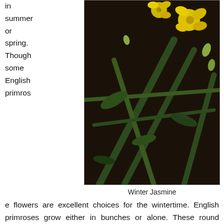in summer or spring. Though some English primrose flowers are excellent choices for the wintertime. English primroses grow either in bunches or alone. These round flowers are available in practically every color, growing up to 12 inches high. Complete sunshine and regular watering help these flowers to flourish.
[Figure (photo): Close-up photograph of Winter Jasmine plant with yellow flowers and green stems against a dark background]
Winter Jasmine
Winter Jasmine
Winter jasmines stand out fantastically in a winter outdoor space. Vibrant yellow flowers appear in winter before attractive glossy leaves develop. These flowers have no scent. A winter jasmine flower thrives in imperfect conditions, becoming a prolific bloomer in good soil and